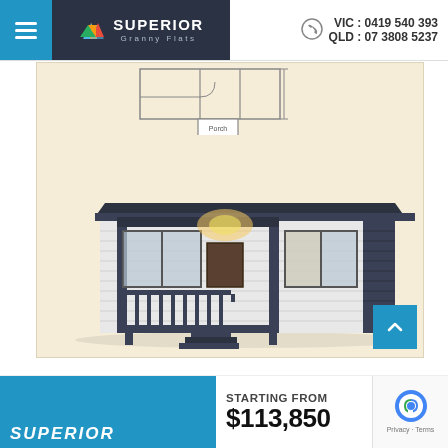[Figure (logo): Superior Granny Flats logo with colorful mountain/roof icon on dark background]
VIC : 0419 540 393
QLD : 07 3808 5237
[Figure (illustration): Granny flat floor plan schematic showing rooms with a porch label at top, above a 3D rendered image of a modern single-storey granny flat with dark roof, white horizontal cladding, porch with railing and steps]
STARTING FROM
$113,850
SUPERIOR